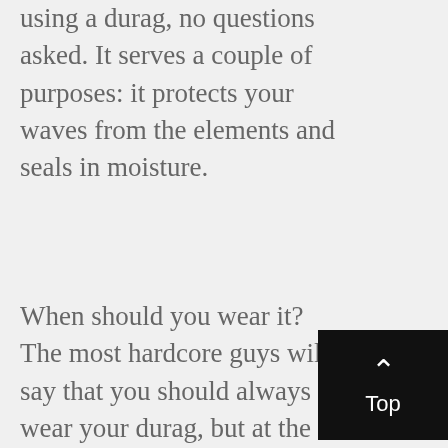using a durag, no questions asked. It serves a couple of purposes: it protects your waves from the elements and seals in moisture.
When should you wear it? The most hardcore guys will say that you should always wear your durag, but at the very least, you should put it on nice and tight for thirty minutes after brushing. Sleeping is another time you should wear your durag, as it will hold your waves in place.
The type of durag you choose is up to you. Satin is one of the more popular fabrics, as it helps keep